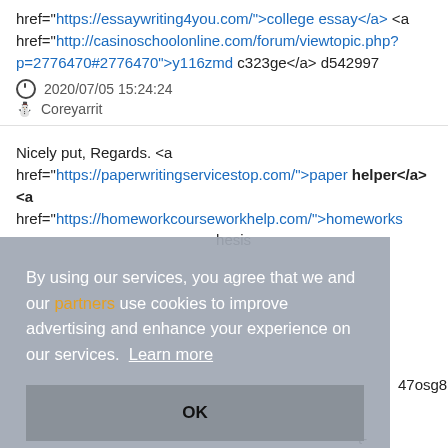href="https://essaywriting4you.com/">college essay</a> <a href="http://casinoschoolonline.com/forum/viewtopic.php?p=2776470#2776470">y116zmd c323ge</a> d542997
2020/07/05 15:24:24
Coreyarrit
Nicely put, Regards. <a href="https://paperwritingservicestop.com/">paper helper</a> <a href="https://homeworkcourseworkhelp.com/">homeworks ... thesis ... 47osg8 ...
By using our services, you agree that we and our partners use cookies to improve advertising and enhance your experience on our services. Learn more
OK